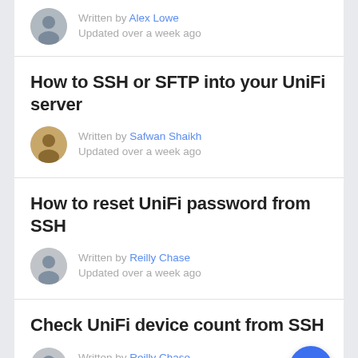Written by Alex Lowe
Updated over a week ago
How to SSH or SFTP into your UniFi server
Written by Safwan Shaikh
Updated over a week ago
How to reset UniFi password from SSH
Written by Reilly Chase
Updated over a week ago
Check UniFi device count from SSH
Written by Reilly Chase
Updated over a week ago